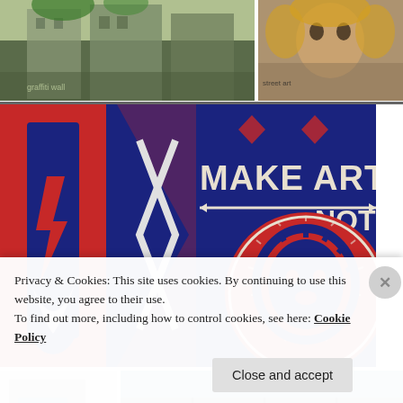[Figure (photo): Street scene with graffiti-covered building facade, urban architecture with green foliage visible]
[Figure (photo): Street art mural showing a face of a person with decorative elements and graffiti]
[Figure (photo): Large colorful mural reading MAKE ART NOT with bold graphic design in red, white and blue Shepard Fairey style]
[Figure (photo): Urban building wall with blue panels and cross/star street art]
[Figure (photo): Modern building facade with large windows reflecting a brick building and blue sky]
Artist
Prophet   Jester
Privacy & Cookies: This site uses cookies. By continuing to use this website, you agree to their use.
To find out more, including how to control cookies, see here: Cookie Policy
Close and accept